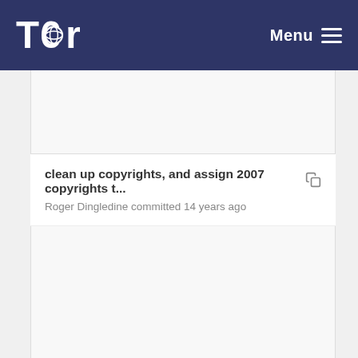Tor — Menu
clean up copyrights, and assign 2007 copyrights t... Roger Dingledine committed 14 years ago